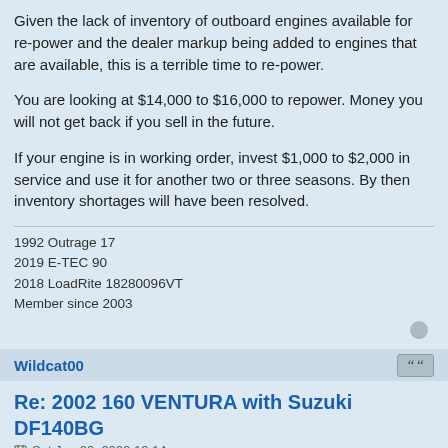Given the lack of inventory of outboard engines available for re-power and the dealer markup being added to engines that are available, this is a terrible time to re-power.
You are looking at $14,000 to $16,000 to repower. Money you will not get back if you sell in the future.
If your engine is in working order, invest $1,000 to $2,000 in service and use it for another two or three seasons. By then inventory shortages will have been resolved.
1992 Outrage 17
2019 E-TEC 90
2018 LoadRite 18280096VT
Member since 2003
Wildcat00
Re: 2002 160 VENTURA with Suzuki DF140BG
Sat Jan 22, 2022 12:14 pm
Many thanks for helpful input from both Phil and Jim.
The boat's current engine is a 2002 Mercury 115-HP 2+2 displacement-